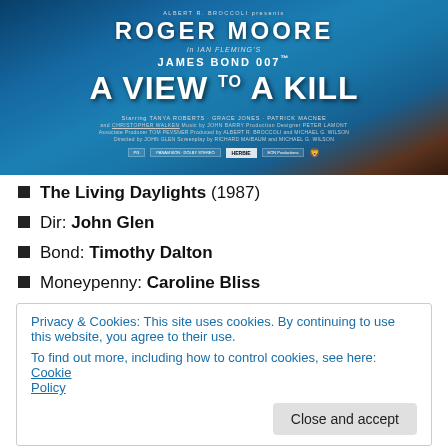[Figure (photo): Movie poster for 'A View to a Kill' featuring Roger Moore as James Bond 007, with blue background. Text includes 'ALBERT R. BROCCOLI presents ROGER MOORE in IAN FLEMING'S JAMES BOND 007 A VIEW TO A KILL' and starring credits.]
The Living Daylights (1987)
Dir: John Glen
Bond: Timothy Dalton
Moneypenny: Caroline Bliss
Privacy & Cookies: This site uses cookies. By continuing to use this website, you agree to their use.
To find out more, including how to control cookies, see here: Cookie Policy
[Close and accept]
Principle villains: General Georgi Koskov played by